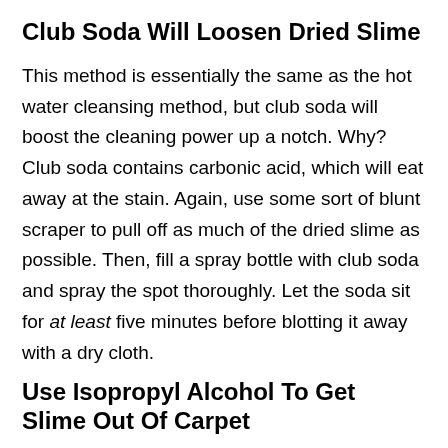Club Soda Will Loosen Dried Slime
This method is essentially the same as the hot water cleansing method, but club soda will boost the cleaning power up a notch. Why? Club soda contains carbonic acid, which will eat away at the stain. Again, use some sort of blunt scraper to pull off as much of the dried slime as possible. Then, fill a spray bottle with club soda and spray the spot thoroughly. Let the soda sit for at least five minutes before blotting it away with a dry cloth.
Use Isopropyl Alcohol To Get Slime Out Of Carpet
The next cleaning agent up the ladder is isopropyl alcohol, the simple, common rubbing alcohol. This